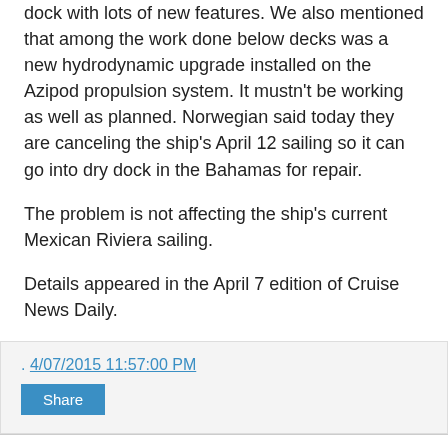dock with lots of new features. We also mentioned that among the work done below decks was a new hydrodynamic upgrade installed on the Azipod propulsion system. It mustn't be working as well as planned. Norwegian said today they are canceling the ship's April 12 sailing so it can go into dry dock in the Bahamas for repair.
The problem is not affecting the ship's current Mexican Riviera sailing.
Details appeared in the April 7 edition of Cruise News Daily.
. 4/07/2015 11:57:00 PM
Share
Open for Business
This morning, Pacific Dawn became the first cruise ship to bring passengers to Port Vila since Cyclone Pam devastated Vanuatu on March 13.